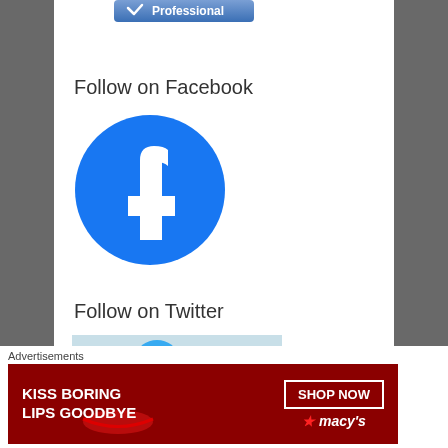[Figure (illustration): Partial view of a 'Professional' button/badge at the top, partially cropped]
Follow on Facebook
[Figure (logo): Facebook circular logo — blue circle with white 'f' lettermark]
Follow on Twitter
[Figure (photo): Partial image of a blue Twitter bird, cropped at bottom]
Advertisements
[Figure (other): Macy's advertisement banner: 'KISS BORING LIPS GOODBYE' with a SHOP NOW button and Macy's star logo on dark red background]